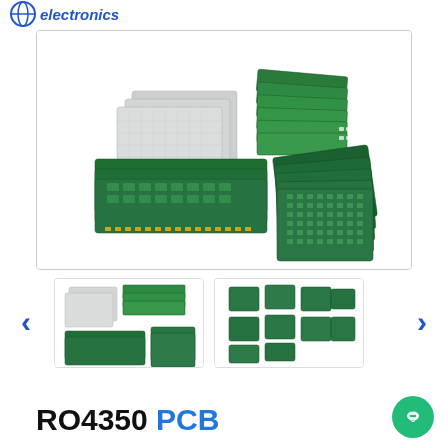electronics
[Figure (photo): Product photo showing multiple green PCB boards (RO4350) in various sizes and configurations, along with some silver/grey prototype PCB panels, arranged in an overlapping fan pattern on a white background.]
[Figure (photo): Thumbnail 1: multiple green PCB boards and silver prototype boards arranged in a stack layout.]
[Figure (photo): Thumbnail 2: several small green PCB boards arranged in a grid pattern.]
RO4350 PCB